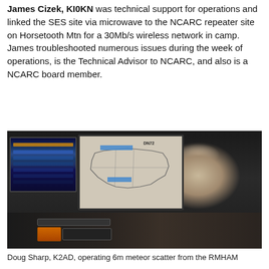James Cizek, KI0KN was technical support for operations and linked the SES site via microwave to the NCARC repeater site on Horsetooth Mtn for a 30Mb/s wireless network in camp.  James troubleshooted numerous issues during the week of operations, is the Technical Advisor to NCARC, and also is a NCARC board member.
[Figure (photo): Man sitting at a workstation with multiple monitors showing radio/communications software screens, a large center monitor displaying a US map with blue tape marks, and radio equipment on the desk. The man is wearing a black shirt and viewed from the side.]
Doug Sharp, K2AD, operating 6m meteor scatter from the RMHAM